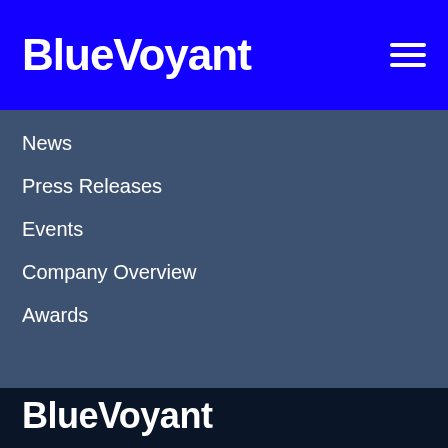BlueVoyant
News
Press Releases
Events
Company Overview
Awards
BlueVoyant
Incident Response
Customer Login
Partner Login
Contact Us